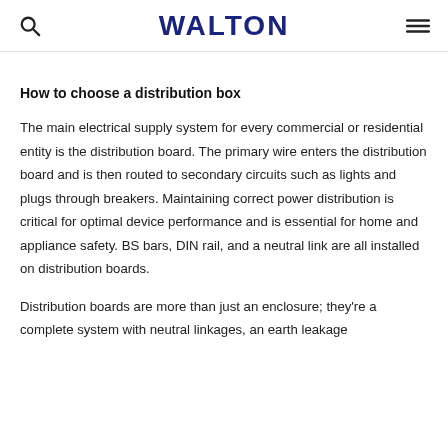WALTON
How to choose a distribution box
The main electrical supply system for every commercial or residential entity is the distribution board. The primary wire enters the distribution board and is then routed to secondary circuits such as lights and plugs through breakers. Maintaining correct power distribution is critical for optimal device performance and is essential for home and appliance safety. BS bars, DIN rail, and a neutral link are all installed on distribution boards.
Distribution boards are more than just an enclosure; they're a complete system with neutral linkages, an earth leakage